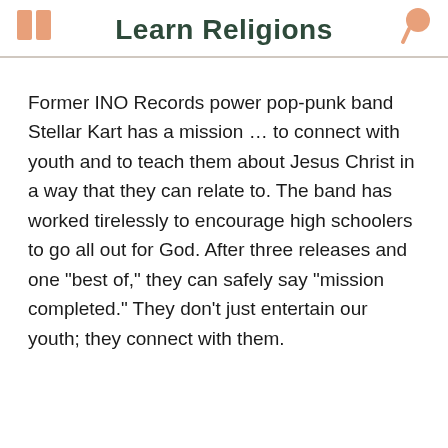Learn Religions
Former INO Records power pop-punk band Stellar Kart has a mission … to connect with youth and to teach them about Jesus Christ in a way that they can relate to. The band has worked tirelessly to encourage high schoolers to go all out for God. After three releases and one "best of," they can safely say "mission completed." They don't just entertain our youth; they connect with them.